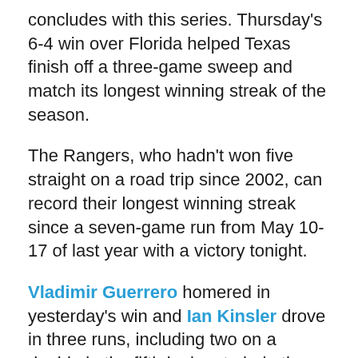concludes with this series. Thursday's 6-4 win over Florida helped Texas finish off a three-game sweep and match its longest winning streak of the season.
The Rangers, who hadn't won five straight on a road trip since 2002, can record their longest winning streak since a seven-game run from May 10-17 of last year with a victory tonight.
Vladimir Guerrero homered in yesterday's win and Ian Kinsler drove in three runs, including two on a double in the fifth inning, to help the Rangers increase their lead over the second-place Angels in the AL West to 2 1/2 games.